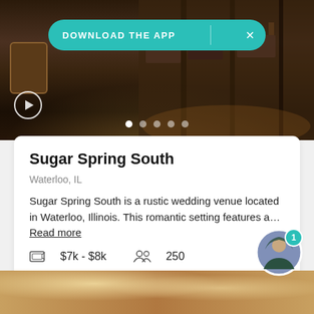[Figure (photo): Rustic wedding venue interior with wooden barrels, dark reflective floors, chairs and tables in the background. A teal 'DOWNLOAD THE APP' banner overlays the top. A play button and pagination dots are visible at the bottom of the photo.]
Sugar Spring South
Waterloo, IL
Sugar Spring South is a rustic wedding venue located in Waterloo, Illinois. This romantic setting features a…  Read more
$7k - $8k   250